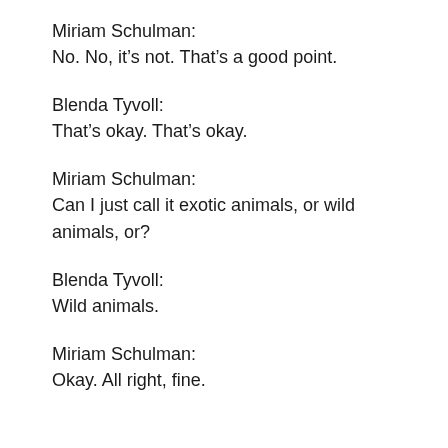Miriam Schulman:
No. No, it's not. That's a good point.
Blenda Tyvoll:
That's okay. That's okay.
Miriam Schulman:
Can I just call it exotic animals, or wild animals, or?
Blenda Tyvoll:
Wild animals.
Miriam Schulman:
Okay. All right, fine.